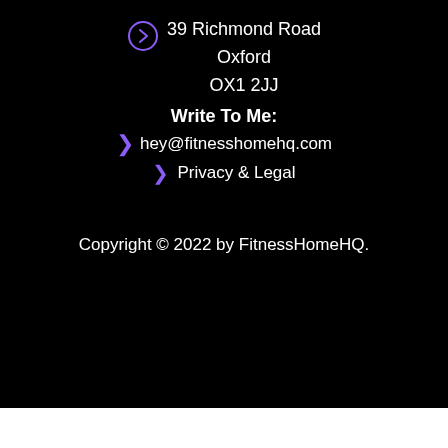39 Richmond Road Oxford OX1 2JJ
Write To Me:
hey@fitnesshomehq.com
Privacy & Legal
Copyright © 2022 by FitnessHomeHQ.